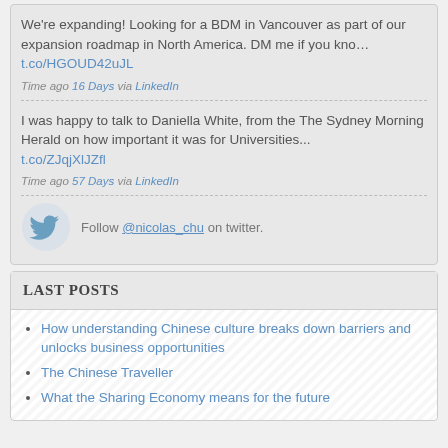We're expanding! Looking for a BDM in Vancouver as part of our expansion roadmap in North America. DM me if you kno… t.co/HGOUD42uJL
Time ago 16 Days via LinkedIn
I was happy to talk to Daniella White, from the The Sydney Morning Herald on how important it was for Universities... t.co/ZJqjXlJZfl
Time ago 57 Days via LinkedIn
Follow @nicolas_chu on twitter.
LAST POSTS
How understanding Chinese culture breaks down barriers and unlocks business opportunities
The Chinese Traveller
What the Sharing Economy means for the future